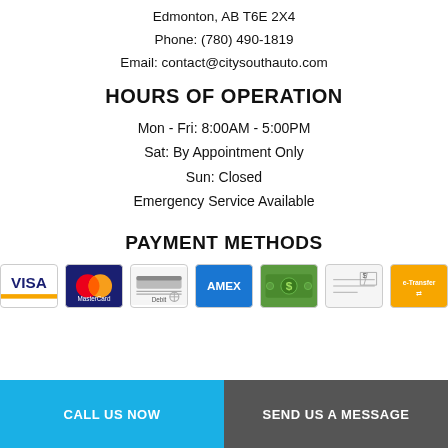Edmonton, AB T6E 2X4
Phone: (780) 490-1819
Email: contact@citysouthauto.com
HOURS OF OPERATION
Mon - Fri: 8:00AM - 5:00PM
Sat: By Appointment Only
Sun: Closed
Emergency Service Available
PAYMENT METHODS
[Figure (infographic): Payment method icons: Visa, MasterCard, Debit, Amex, Cash, Cheque, e-Transfer]
CALL US NOW
SEND US A MESSAGE